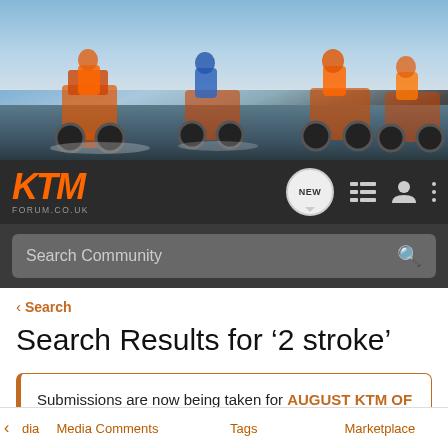[Figure (photo): Hero banner image showing motocross riders on KTM bikes racing, with a blue sky and water splash background]
[Figure (logo): KTM FORUM.CO.UK logo in orange italic text on dark navigation bar, with NEW chat bubble icon, list icon, user icon, and menu dots]
Search Community
< Search
Search Results for ‘2 stroke’
Submissions are now being taken for AUGUST KTM OF THE MONTH
dia   Media Comments   Tags   Marketplace